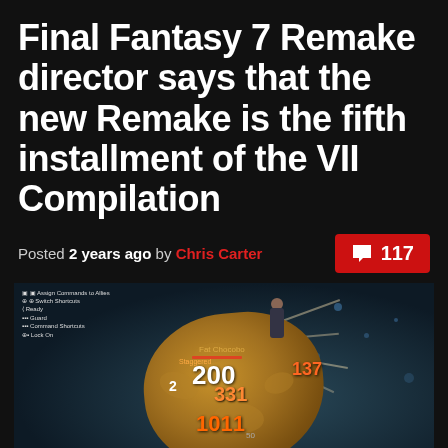Final Fantasy 7 Remake director says that the new Remake is the fifth installment of the VII Compilation
Posted 2 years ago by Chris Carter
117
[Figure (screenshot): Final Fantasy 7 Remake gameplay screenshot showing a Fat Chocobo enemy in battle with damage numbers 200, 137, 331, 1011 displayed on screen along with HUD elements and menu commands on the left side.]